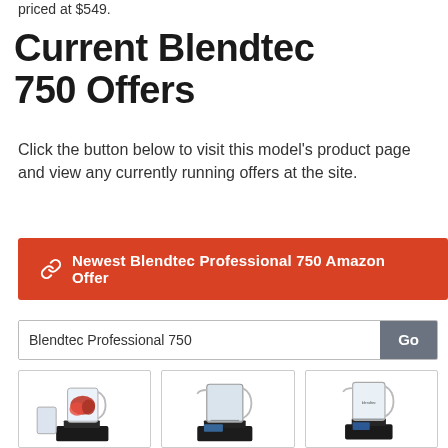priced at $549.
Current Blendtec 750 Offers
Click the button below to visit this model's product page and view any currently running offers at the site.
Newest Blendtec Professional 750 Amazon Offer
Blendtec Professional 750
[Figure (photo): Three blender product images in cards: left shows Blendtec blender with strawberries, center shows Blendtec Professional blender, right shows Blendtec blender with clear jar]